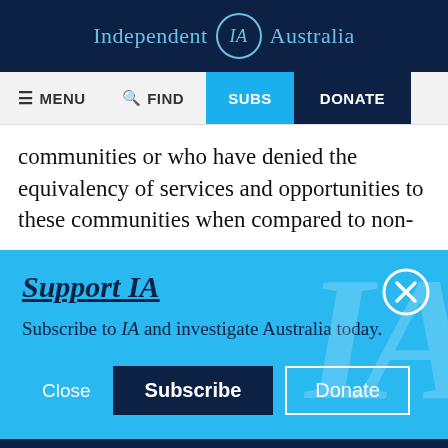Independent IA Australia
[Figure (screenshot): Navigation bar with MENU, FIND, SUBS (cyan), DONATE (dark blue) buttons]
communities or who have denied the equivalency of services and opportunities to these communities when compared to non-
Support IA
Subscribe to IA and investigate Australia today.
Close   Subscribe   Donate
Twitter  Facebook  LinkedIn  Flipboard  Link  Plus icons